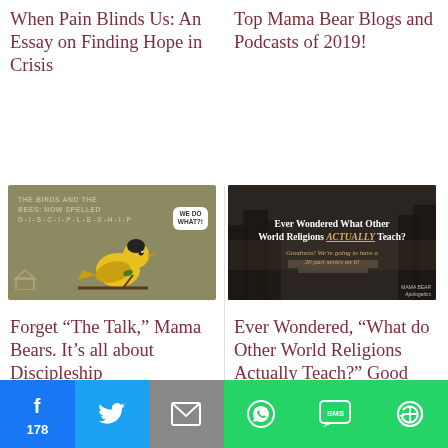When Pain Blinds Us: An Essay on Finding Hope in Crisis
Top Mama Bear Blogs and Podcasts of 2019!
[Figure (illustration): Olive/tan background image with text: THE BIRDS AND THE BEES: NOW SPELLED D-I-S-C-I-P-L-E-S-H-I-P with a yellow bird illustration and a speech bubble saying WE DO WHAT?!]
[Figure (photo): Dark photo of trees/nature with overlaid text: Ever Wondered What Other World Religions ACTUALLY Teach? Goodness! We're going to have a 20 part series on it! with MAMA BEAR branding]
Forget “The Talk,” Mama Bears. It’s all about Discipleship
Ever Wondered, "What do Other World Religions Actually Teach?" Good News! We’re Going to Have a 20-Part Series on it!
Facebook 178 | Twitter | Email | WhatsApp | SMS | More